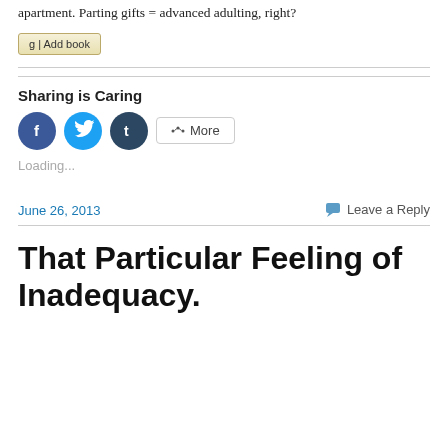apartment. Parting gifts = advanced adulting, right?
[Figure (screenshot): A button labeled 'g | Add book' with a tan/gold gradient background and border]
Sharing is Caring
[Figure (infographic): Social sharing buttons: Facebook (blue circle), Twitter (light blue circle), Tumblr (dark blue circle), and a 'More' button with share icon]
Loading...
June 26, 2013
Leave a Reply
That Particular Feeling of Inadequacy.